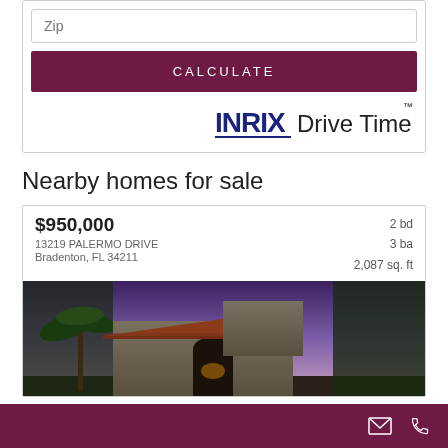Zip
CALCULATE
[Figure (logo): INRIX Drive Time logo]
Nearby homes for sale
$950,000
13219 PALERMO DRIVE
Bradenton, FL 34211
2 bd
3 ba
2,087 sq. ft
[Figure (photo): Photo of a house at dusk with palm tree and terracotta roof tiles, purple/blue evening sky]